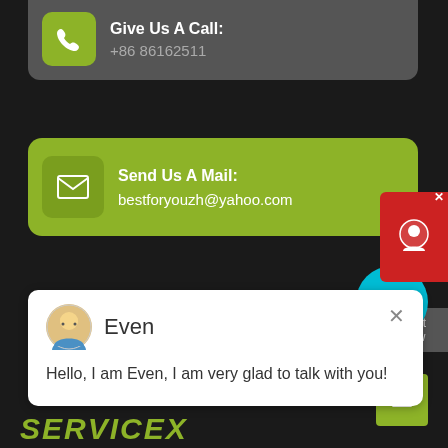Give Us A Call: +86 86162511
Send Us A Mail: bestforyouzh@yahoo.com
Even
Hello, I am Even, I am very glad to talk with you!
1
SERVICEX